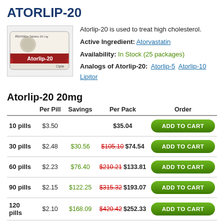ATORLIP-20
[Figure (photo): Product image of Atorlip-20 tablet packaging (Cipla brand, white/red box)]
Atorlip-20 is used to treat high cholesterol.
Active Ingredient: Atorvastatin
Availability: In Stock (25 packages)
Analogs of Atorlip-20: Atorlip-5  Atorlip-10  Lipitor
Atorlip-20 20mg
|  | Per Pill | Savings | Per Pack | Order |
| --- | --- | --- | --- | --- |
| 10 pills | $3.50 |  | $35.04 | ADD TO CART |
| 30 pills | $2.48 | $30.56 | $105.10 $74.54 | ADD TO CART |
| 60 pills | $2.23 | $76.40 | $210.21 $133.81 | ADD TO CART |
| 90 pills | $2.15 | $122.25 | $315.32 $193.07 | ADD TO CART |
| 120 pills | $2.10 | $168.09 | $420.42 $252.33 | ADD TO CART |
| 180 pills | $2.06 | $259.77 | $630.63 $370.86 | ADD TO CART |